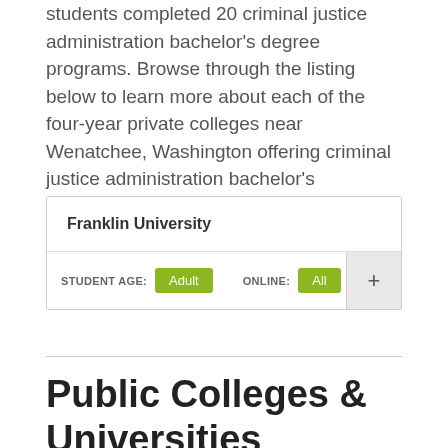students completed 20 criminal justice administration bachelor's degree programs. Browse through the listing below to learn more about each of the four-year private colleges near Wenatchee, Washington offering criminal justice administration bachelor's programs.
| Franklin University |
| STUDENT AGE: Adult   ONLINE: All |
Public Colleges & Universities Offering Criminal Justice